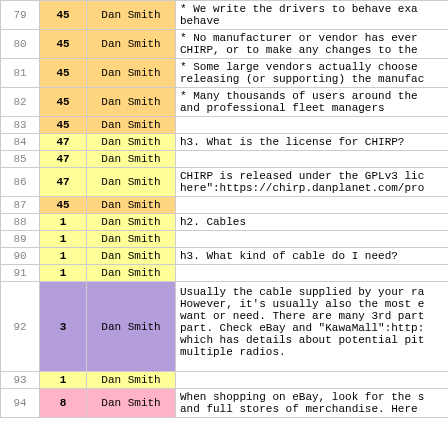| # | ID | Name | Content |
| --- | --- | --- | --- |
| 79 | 45 | Dan Smith | * We write the drivers to behave exa behave |
| 80 | 45 | Dan Smith | * No manufacturer or vendor has ever CHIRP, or to make any changes to the |
| 81 | 45 | Dan Smith | * Some large vendors actually choose releasing (or supporting) the manufac |
| 82 | 45 | Dan Smith | * Many thousands of users around the and professional fleet managers |
| 83 | 45 | Dan Smith |  |
| 84 | 47 | Dan Smith | h3. What is the license for CHIRP? |
| 85 | 47 | Dan Smith |  |
| 86 | 47 | Dan Smith | CHIRP is released under the GPLv3 lic here":https://chirp.danplanet.com/pro |
| 87 | 45 | Dan Smith |  |
| 88 | 1 | Dan Smith | h2. Cables |
| 89 | 1 | Dan Smith |  |
| 90 | 1 | Dan Smith | h3. What kind of cable do I need? |
| 91 | 1 | Dan Smith |  |
| 92 | 3 | Dan Smith | Usually the cable supplied by your ra However, it's usually also the most e want or need. There are many 3rd part part. Check eBay and "KawaMall":http: which has details about potential pit multiple radios. |
| 93 | 1 | Dan Smith |  |
| 94 | 8 | Dan Smith | When shopping on eBay, look for the s and full stores of merchandise. Here |